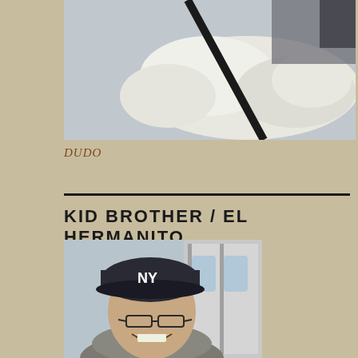[Figure (photo): Top portion of a photo showing a fluffy white animal (dog) with a dark leash/stick against a light background]
DUDO
KID BROTHER / EL HERMANITO
[Figure (photo): Man wearing a New York Yankees cap and glasses, smiling in a subway station with subway car doors visible in the background]